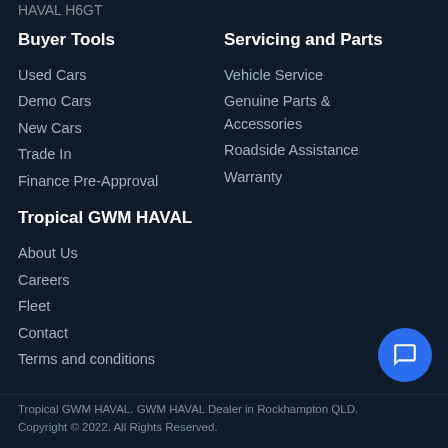HAVAL H6GT
Buyer Tools
Used Cars
Demo Cars
New Cars
Trade In
Finance Pre-Approval
Servicing and Parts
Vehicle Service
Genuine Parts & Accessories
Roadside Assistance
Warranty
Tropical GWM HAVAL
About Us
Careers
Fleet
Contact
Terms and conditions
Tropical GWM HAVAL. GWM HAVAL Dealer in Rockhampton QLD. Copyright © 2022. All Rights Reserved.